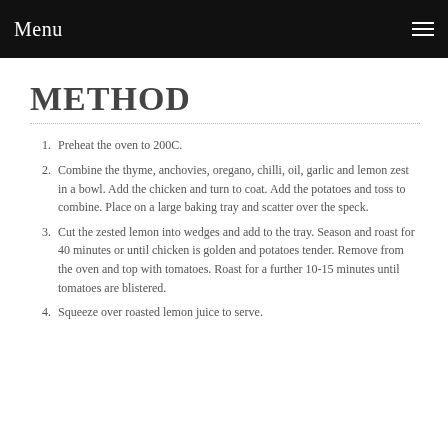Menu
METHOD
Preheat the oven to 200C.
Combine the thyme, anchovies, oregano, chilli, oil, garlic and lemon zest in a bowl. Add the chicken and turn to coat. Add the potatoes and toss to combine. Place on a large baking tray and scatter over the speck.
Cut the zested lemon into wedges and add to the tray. Season and roast for 40 minutes or until chicken is golden and potatoes tender. Remove from the oven and top with tomatoes. Roast for a further 10-15 minutes until tomatoes are blistered.
Squeeze over roasted lemon juice to serve.